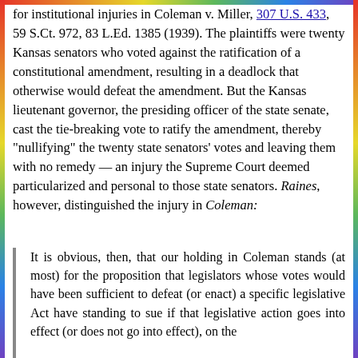for institutional injuries in Coleman v. Miller, 307 U.S. 433, 59 S.Ct. 972, 83 L.Ed. 1385 (1939). The plaintiffs were twenty Kansas senators who voted against the ratification of a constitutional amendment, resulting in a deadlock that otherwise would defeat the amendment. But the Kansas lieutenant governor, the presiding officer of the state senate, cast the tie-breaking vote to ratify the amendment, thereby "nullifying" the twenty state senators' votes and leaving them with no remedy — an injury the Supreme Court deemed particularized and personal to those state senators. Raines, however, distinguished the injury in Coleman:
It is obvious, then, that our holding in Coleman stands (at most) for the proposition that legislators whose votes would have been sufficient to defeat (or enact) a specific legislative Act have standing to sue if that legislative action goes into effect (or does not go into effect), on the